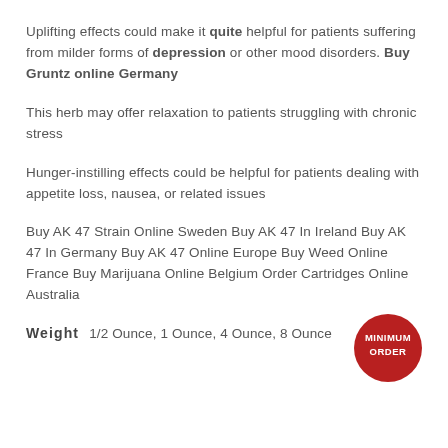Uplifting effects could make it quite helpful for patients suffering from milder forms of depression or other mood disorders. Buy Gruntz online Germany
This herb may offer relaxation to patients struggling with chronic stress
Hunger-instilling effects could be helpful for patients dealing with appetite loss, nausea, or related issues
Buy AK 47 Strain Online Sweden Buy AK 47 In Ireland Buy AK 47 In Germany Buy AK 47 Online Europe Buy Weed Online France Buy Marijuana Online Belgium Order Cartridges Online Australia
Weight  1/2 Ounce, 1 Ounce, 4 Ounce, 8 Ounce
[Figure (logo): Red circular badge with white text reading MINIMUM ORDER]